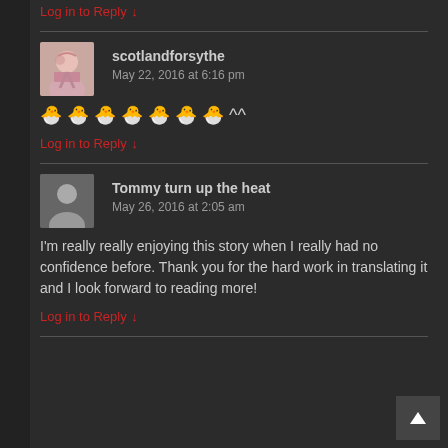Log in to Reply ↓
scotlandforsythe
May 22, 2016 at 6:16 pm
🐣 🐣 🐣 🐣 🐣 🐣 🐣 ^^
Log in to Reply ↓
Tommy turn up the heat
May 26, 2016 at 2:05 am
I'm really really enjoying this story when I really had no confidence before. Thank you for the hard work in translating it and I look forward to reading more!
Log in to Reply ↓